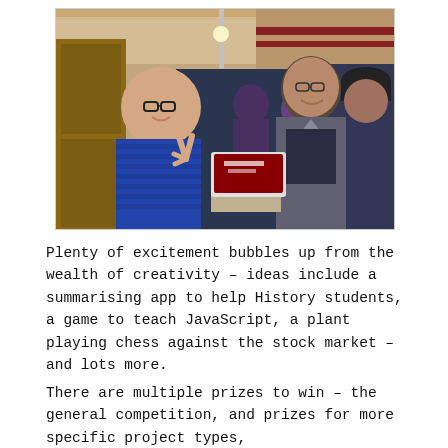[Figure (photo): Two young men smiling and posing at what appears to be a hackathon or tech event inside a building with brick walls and arched architecture. The man on the left is Asian, wearing a blue knit sweater and glasses, making a peace sign. The man on the right is South Asian, wearing a dark t-shirt and grey hoodie, smiling. Between them is a laptop on a cardboard box showing a red screen. Other people and the ornate interior are visible in the background.]
Plenty of excitement bubbles up from the wealth of creativity – ideas include a summarising app to help History students, a game to teach JavaScript, a plant playing chess against the stock market – and lots more.
There are multiple prizes to win – the general competition, and prizes for more specific project types, the public choice ones. The finalists for the general